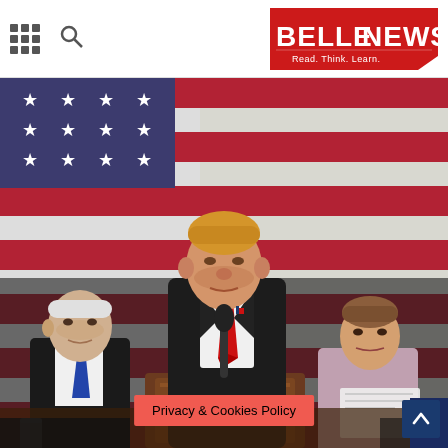BELLENEWS — Read. Think. Learn.
[Figure (photo): Person speaking at a podium in front of large American flags, with two other people seated behind them. A news website screenshot showing a BelleNews header with grid and search icons, a red BELLENEWS logo, and a large editorial photo occupying most of the page.]
Privacy & Cookies Policy